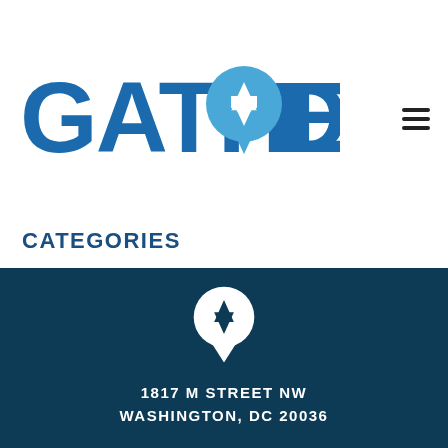[Figure (logo): GatherDC logo with Star of David map pin icon, blue text]
CATEGORIES
[Figure (other): Select Category dropdown input]
[Figure (logo): White GatherDC map pin logo on dark blue background]
1817 M STREET NW
WASHINGTON, DC 20036